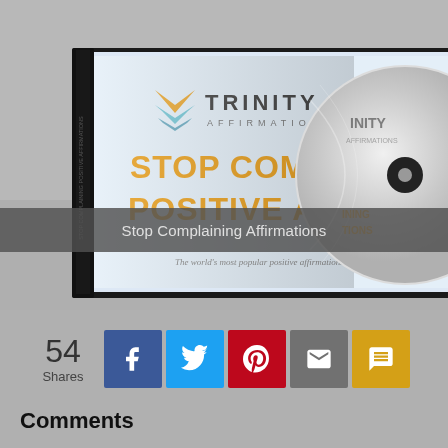[Figure (photo): CD case product mockup for Trinity Affirmations 'Stop Complaining Positive Affirmations' with a disc visible beside the case, on a gray background.]
Stop Complaining Affirmations
54 Shares
Comments